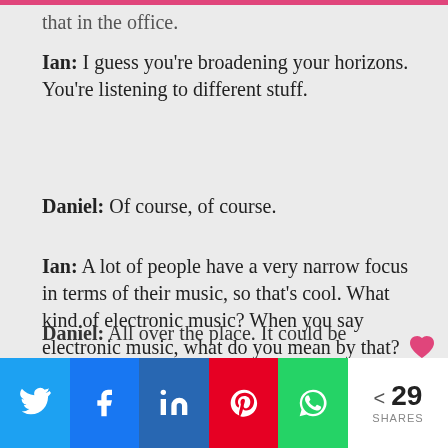that in the office.
Ian: I guess you're broadening your horizons. You're listening to different stuff.
Daniel: Of course, of course.
Ian: A lot of people have a very narrow focus in terms of their music, so that's cool. What kind of electronic music? When you say electronic music, what do you mean by that?
Daniel: All over the place. It could be
[Figure (infographic): Social sharing bar with Twitter, Facebook, LinkedIn, Pinterest, WhatsApp buttons and a share count showing 29 SHARES]